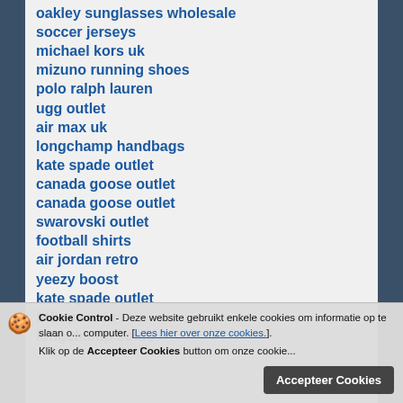oakley sunglasses wholesale
soccer jerseys
michael kors uk
mizuno running shoes
polo ralph lauren
ugg outlet
air max uk
longchamp handbags
kate spade outlet
canada goose outlet
canada goose outlet
swarovski outlet
football shirts
air jordan retro
yeezy boost
kate spade outlet
fitflops sale
longchamp solde
canada goose jackets
mac makeup
michael kors outlet online
Cookie Control - Deze website gebruikt enkele cookies om informatie op te slaan o... computer. [Lees hier over onze cookies.]. Klik op de Accepteer Cookies button om onze cookie...